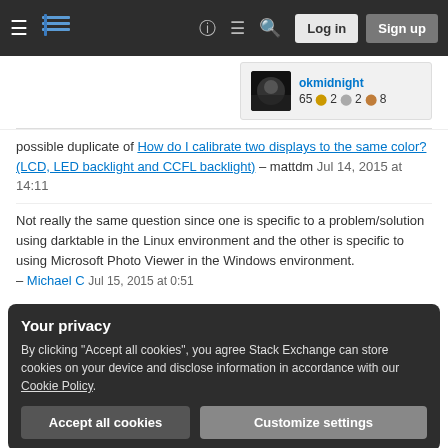Stack Exchange navigation bar with hamburger menu, logo, help, chat, search icons, Log in and Sign up buttons
[Figure (screenshot): User card for okmidnight showing avatar photo, username okmidnight, reputation 65 with gold dot 2, silver dot 2, bronze dot 8]
possible duplicate of How do I calibrate two displays to the same color? (LCD, LED backlight and CCFL backlight) – mattdm Jul 14, 2015 at 14:11
Not really the same question since one is specific to a problem/solution using darktable in the Linux environment and the other is specific to using Microsoft Photo Viewer in the Windows environment. – Michael C Jul 15, 2015 at 0:51
Your privacy
By clicking "Accept all cookies", you agree Stack Exchange can store cookies on your device and disclose information in accordance with our Cookie Policy.
Accept all cookies    Customize settings
Is it possible to calibrate correctly and